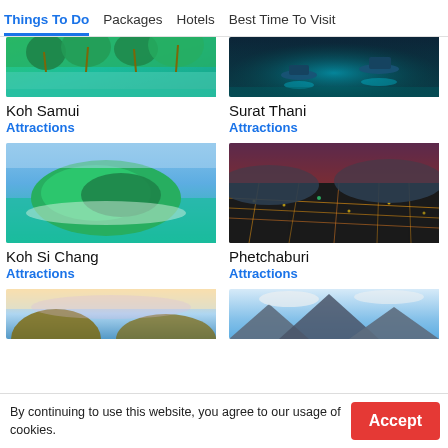Things To Do | Packages | Hotels | Best Time To Visit
[Figure (photo): Aerial photo of Koh Samui with tropical palm trees and green foliage]
Koh Samui
Attractions
[Figure (photo): Night scene of Surat Thani with boats on water reflecting teal light]
Surat Thani
Attractions
[Figure (photo): Aerial view of Koh Si Chang island surrounded by green sea water]
Koh Si Chang
Attractions
[Figure (photo): Night aerial view of Phetchaburi city with glowing orange street lights]
Phetchaburi
Attractions
[Figure (photo): Scenic coastal landscape with cliffs and pastel sky]
[Figure (photo): Mountain landscape with cloudy sky]
By continuing to use this website, you agree to our usage of cookies.
Accept